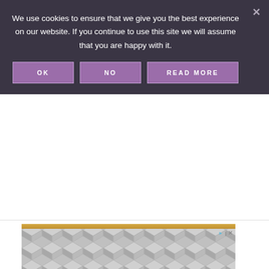We use cookies to ensure that we give you the best experience on our website. If you continue to use this site we will assume that you are happy with it.
[Figure (screenshot): Cookie consent banner with dark purple-gray background showing three buttons: OK, NO, READ MORE in purple with white text and border outlines, and an X close button in the top right corner]
[Figure (screenshot): Advertisement banner at bottom with geometric hexagon/cube pattern in gray tones, with a gold bar at the top, play button icon and X close icon in top right corner]